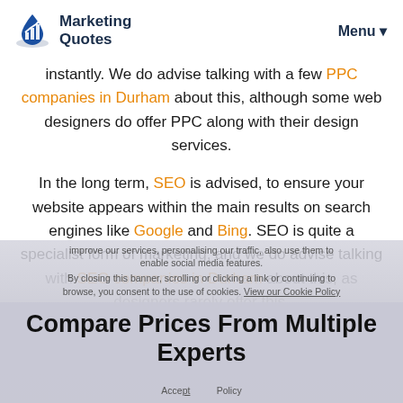Marketing Quotes  Menu
instantly.  We do advise talking with a few PPC companies in Durham about this, although some web designers do offer PPC along with their design services.
In the long term, SEO is advised, to ensure your website appears within the main results on search engines like Google and Bing.  SEO is quite a specialist form of marketing, and we do advise talking with SEO companies in Durham about this, as designers rarely offer this.
Compare Prices From Multiple Experts